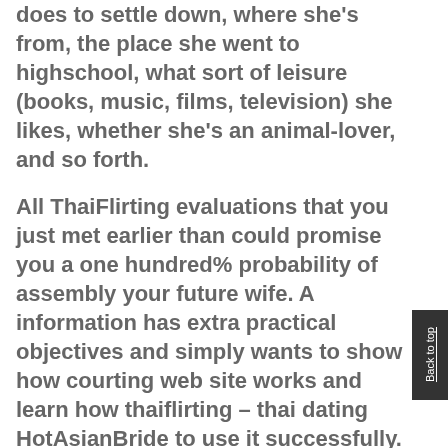does to settle down, where she's from, the place she went to highschool, what sort of leisure (books, music, films, television) she likes, whether she's an animal-lover, and so forth.
All ThaiFlirting evaluations that you just met earlier than could promise you a one hundred% probability of assembly your future wife. A information has extra practical objectives and simply wants to show how courting web site works and learn how thaiflirting – thai dating HotAsianBride to use it successfully. Are you driven at work to such a